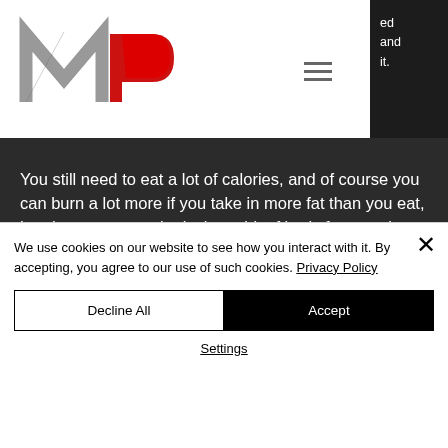[Figure (logo): MP logo with stylized M and P letters, M in gray/silver, P in red]
ed and it.
You still need to eat a lot of calories, and of course you can burn a lot more if you take in more fat than you eat, but that means you're losing a bit of body fat… and you have to work hard.
Most guys who make weight lose it by eating healthy foods and making some progress
We use cookies on our website to see how you interact with it. By accepting, you agree to our use of such cookies. Privacy Policy
Decline All
Accept
Settings